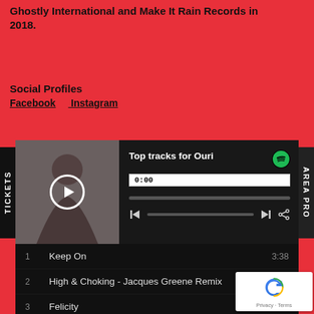Ghostly International and Make It Rain Records in 2018.
Social Profiles
Facebook    Instagram
[Figure (screenshot): Spotify embedded player showing 'Top tracks for Ouri' with album art, play button, time display 0:00, progress bar and controls]
1  Keep On  3:38
2  High & Choking - Jacques Greene Remix  4:38
3  Felicity  3:50
4  Truly  3:11
5  Fonction Naturelle  3:00
6  Jour 3
7  High & Choking, Pt. 1  3:05